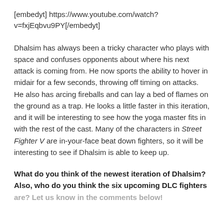[embedyt] https://www.youtube.com/watch?v=fxjEqbvu9PY[/embedyt]
Dhalsim has always been a tricky character who plays with space and confuses opponents about where his next attack is coming from. He now sports the ability to hover in midair for a few seconds, throwing off timing on attacks. He also has arcing fireballs and can lay a bed of flames on the ground as a trap. He looks a little faster in this iteration, and it will be interesting to see how the yoga master fits in with the rest of the cast. Many of the characters in Street Fighter V are in-your-face beat down fighters, so it will be interesting to see if Dhalsim is able to keep up.
What do you think of the newest iteration of Dhalsim? Also, who do you think the six upcoming DLC fighters are? Let us know in the comments below!